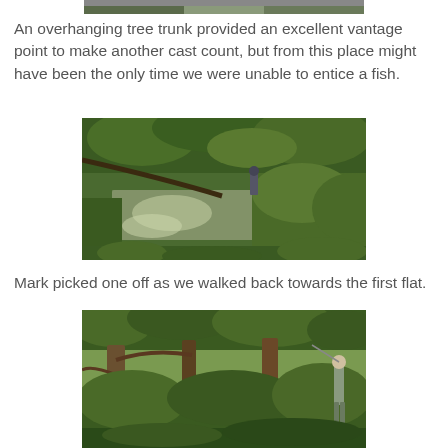[Figure (photo): Partial top edge of a photo showing a river scene, cropped at top of page]
An overhanging tree trunk provided an excellent vantage point to make another cast count, but from this place might have been the only time we were unable to entice a fish.
[Figure (photo): Outdoor nature photo showing a muddy river or stream with lush green trees and vegetation on the banks; a person with a backpack visible in the background]
Mark picked one off as we walked back towards the first flat.
[Figure (photo): Outdoor photo showing dense green trees and vegetation; a person in waders visible on the right side among the greenery]